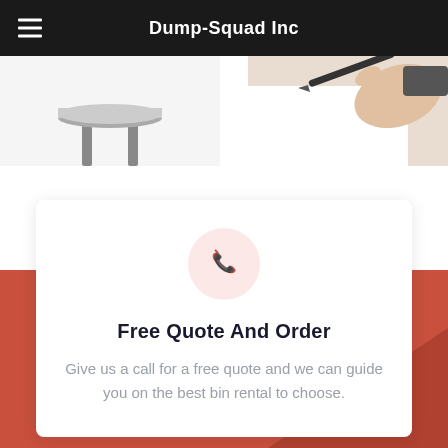Dump-Squad Inc
[Figure (photo): Partial view of a round table or trampoline top, cropped at top, white background]
[Figure (photo): Hand holding a pen, appears to be writing, partial view cropped at top-right]
Free Quote And Order
Give us a call for a free quote and we can guide you on the best bin rental to choose.